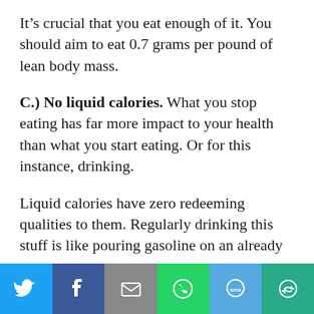It’s crucial that you eat enough of it. You should aim to eat 0.7 grams per pound of lean body mass.
C.) No liquid calories. What you stop eating has far more impact to your health than what you start eating. Or for this instance, drinking.
Liquid calories have zero redeeming qualities to them. Regularly drinking this stuff is like pouring gasoline on an already
[Figure (infographic): Social sharing bar with six buttons: Twitter (blue bird icon), Facebook (dark blue f icon), Email (gray envelope icon), WhatsApp (green phone icon), SMS (blue SMS bubble icon), More (green circular arrow icon)]